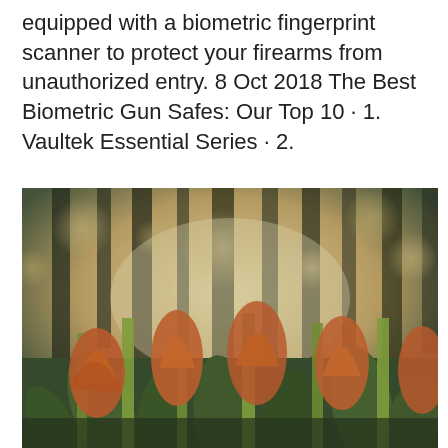equipped with a biometric fingerprint scanner to protect your firearms from unauthorized entry. 8 Oct 2018 The Best Biometric Gun Safes: Our Top 10 · 1. Vaultek Essential Series · 2.
Visma program pris
[Figure (photo): Close-up photograph of orange tulips in bloom, with blurred trees and bokeh background in warm golden light, taken from a low angle.]